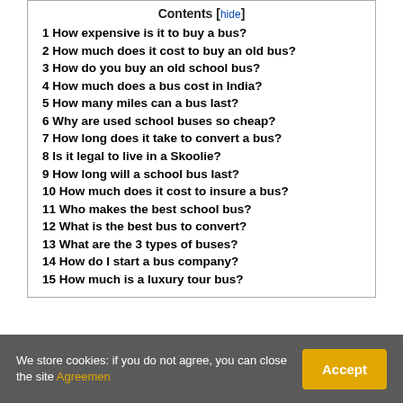Contents [hide]
1 How expensive is it to buy a bus?
2 How much does it cost to buy an old bus?
3 How do you buy an old school bus?
4 How much does a bus cost in India?
5 How many miles can a bus last?
6 Why are used school buses so cheap?
7 How long does it take to convert a bus?
8 Is it legal to live in a Skoolie?
9 How long will a school bus last?
10 How much does it cost to insure a bus?
11 Who makes the best school bus?
12 What is the best bus to convert?
13 What are the 3 types of buses?
14 How do I start a bus company?
15 How much is a luxury tour bus?
We store cookies: if you do not agree, you can close the site Agreemen